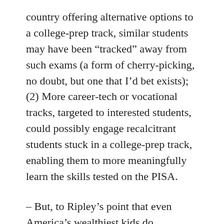country offering alternative options to a college-prep track, similar students may have been “tracked” away from such exams (a form of cherry-picking, no doubt, but one that I’d bet exists); (2) More career-tech or vocational tracks, targeted to interested students, could possibly engage recalcitrant students stuck in a college-prep track, enabling them to more meaningfully learn the skills tested on the PISA.
– But, to Ripley’s point that even America’s wealthiest kids do comparatively poorly on tests like the PISA when ranked against their global GPD-peer nations (and, as several commenters asserted when I talked about this